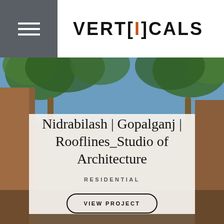VERTICIALS (logo with stylized text)
[Figure (photo): Exterior architectural photo showing palm trees above and warm terracotta/brick walls on sides, with blue sky. Background for project card.]
Nidrabilash | Gopalganj | Rooflines_Studio of Architecture
RESIDENTIAL
VIEW PROJECT